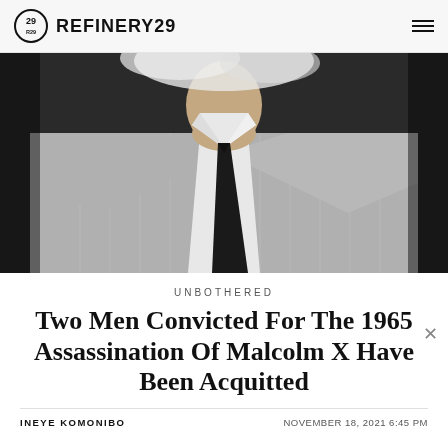REFINERY29
[Figure (photo): Close-up black and white style photo of a man in a pinstripe suit jacket, white dress shirt, and dark tie, from the chest to chin, cropped head, dark background]
UNBOTHERED
Two Men Convicted For The 1965 Assassination Of Malcolm X Have Been Acquitted
INEYE KOMONIBO
NOVEMBER 18, 2021 6:45 PM